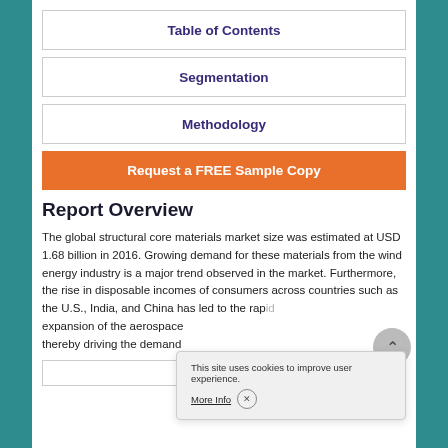Table of Contents
Segmentation
Methodology
Request a FREE Sample Copy
Report Overview
The global structural core materials market size was estimated at USD 1.68 billion in 2016. Growing demand for these materials from the wind energy industry is a major trend observed in the market. Furthermore, the rise in disposable incomes of consumers across countries such as the U.S., India, and China has led to the rapid expansion of the aerospace and thereby driving the demand
This site uses cookies to improve user experience. More Info